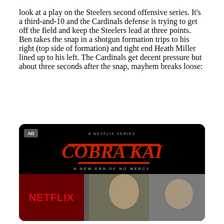look at a play on the Steelers second offensive series. It's a third-and-10 and the Cardinals defense is trying to get off the field and keep the Steelers lead at three points. Ben takes the snap in a shotgun formation trips to his right (top side of formation) and tight end Heath Miller lined up to his left. The Cardinals get decent pressure but about three seconds after the snap, mayhem breaks loose:
[Figure (photo): Advertisement for Netflix series Cobra Kai - A New Era of No Mercy, showing the Cobra Kai logo on black background with Netflix branding and two actors below]